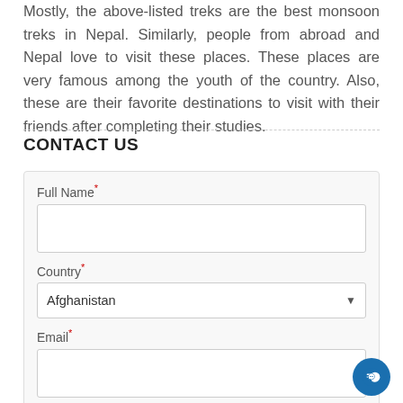Mostly, the above-listed treks are the best monsoon treks in Nepal. Similarly, people from abroad and Nepal love to visit these places. These places are very famous among the youth of the country. Also, these are their favorite destinations to visit with their friends after completing their studies.
CONTACT US
Full Name [required field]
Country [required field] — Afghanistan
Email [required field]
Phone